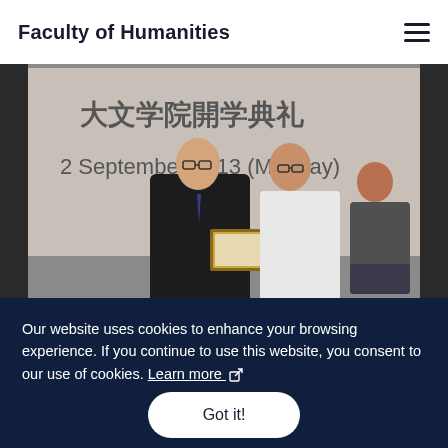Faculty of Humanities
[Figure (photo): Two people holding a framed certificate at a Faculty of Humanities orientation ceremony on 2 September 2013 (Monday). A third person is seated in the background. A banner with Chinese characters and the date is visible on the screen behind them.]
Our website uses cookies to enhance your browsing experience. If you continue to use this website, you consent to our use of cookies. Learn more
Got it!